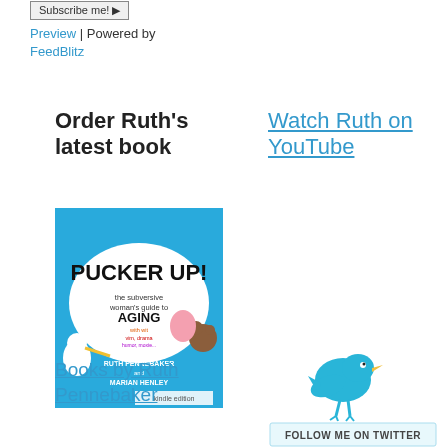Subscribe me! ▶ Preview | Powered by FeedBlitz
Order Ruth's latest book
[Figure (illustration): Book cover of 'Pucker Up! The Subversive Woman's Guide to Aging with Wit, Vim, Drama, Humor, Moxie... and other Subversive Gifts' by Ruth Pennebaker and Marian Henley, kindle edition. Blue cartoon cover with characters.]
Watch Ruth on YouTube
Books by Ruth Pennebaker
[Figure (illustration): Twitter bird logo with 'Follow me on Twitter' banner below it in a cyan/blue color scheme.]